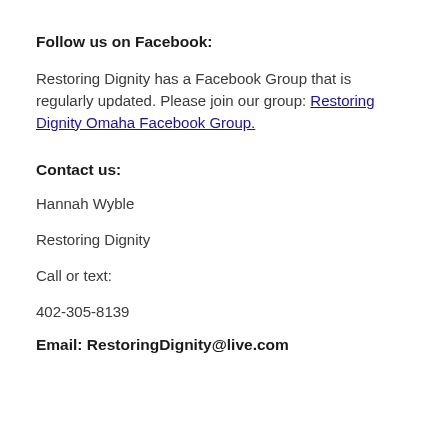Follow us on Facebook:
Restoring Dignity has a Facebook Group that is regularly updated. Please join our group: Restoring Dignity Omaha Facebook Group.
Contact us:
Hannah Wyble
Restoring Dignity
Call or text:
402-305-8139
Email: RestoringDignity@live.com